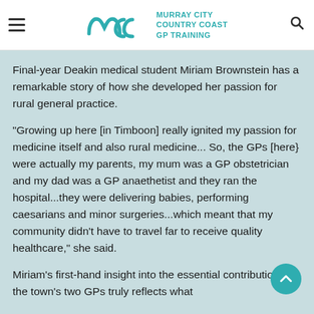MCCC - MURRAY CITY COUNTRY COAST GP TRAINING
Final-year Deakin medical student Miriam Brownstein has a remarkable story of how she developed her passion for rural general practice.
“Growing up here [in Timboon] really ignited my passion for medicine itself and also rural medicine... So, the GPs [here} were actually my parents, my mum was a GP obstetrician and my dad was a GP anaethetist and they ran the hospital...they were delivering babies, performing caesarians and minor surgeries...which meant that my community didn’t have to travel far to receive quality healthcare,” she said.
Miriam’s first-hand insight into the essential contribution of the town’s two GPs truly reflects what